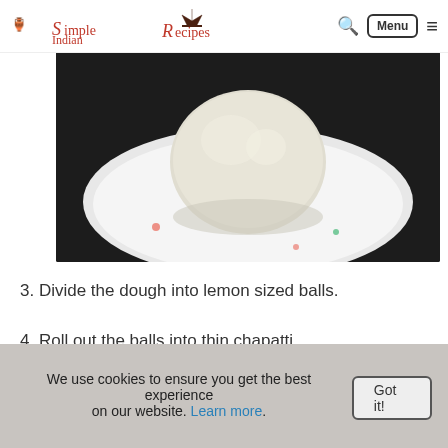Simple Indian Recipes — Menu
[Figure (photo): A white bowl containing a ball of dough, viewed from above, on a dark surface.]
3. Divide the dough into lemon sized balls.
4. Roll out the balls into thin chapatti.
[Figure (photo): Partial view of a dark surface dusted with white flour.]
We use cookies to ensure you get the best experience on our website. Learn more. Got it!